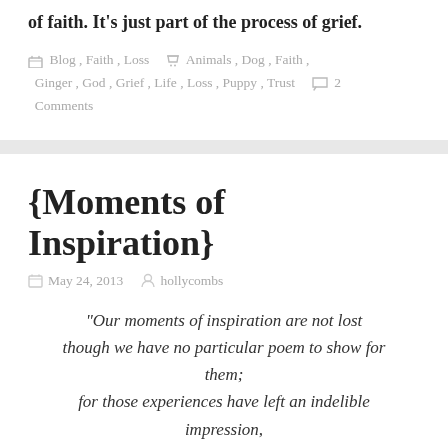of faith. It's just part of the process of grief.
Blog, Faith, Loss   Animals, Dog, Faith, Ginger, God, Grief, Life, Loss, Puppy, Trust   2 Comments
{Moments of Inspiration}
May 24, 2013   hollycombs
“Our moments of inspiration are not lost though we have no particular poem to show for them; for those experiences have left an indelible impression, and we are ever and anon reminded of them.” ~ Henry David Thoreau